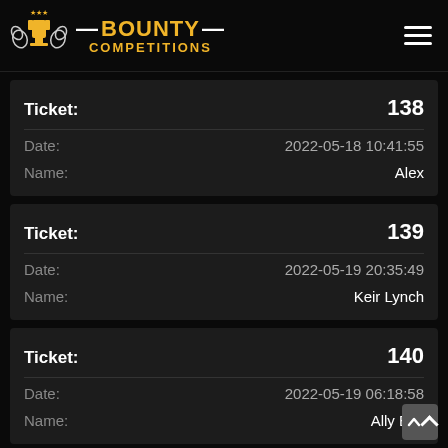[Figure (logo): Bounty Competitions logo with trophy icon and text]
| Field | Value |
| --- | --- |
| Ticket: | 138 |
| Date: | 2022-05-18 10:41:55 |
| Name: | Alex |
| Field | Value |
| --- | --- |
| Ticket: | 139 |
| Date: | 2022-05-19 20:35:49 |
| Name: | Keir Lynch |
| Field | Value |
| --- | --- |
| Ticket: | 140 |
| Date: | 2022-05-19 06:18:58 |
| Name: | Ally Bell |
| Field | Value |
| --- | --- |
| Ticket: | … |